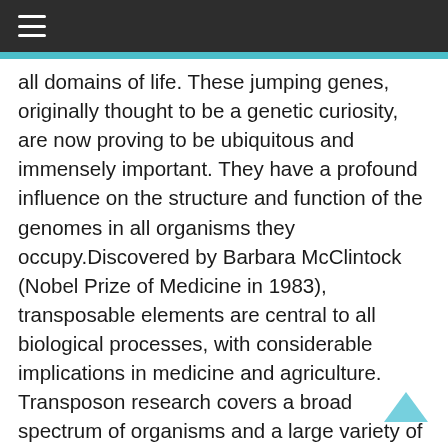≡
all domains of life. These jumping genes, originally thought to be a genetic curiosity, are now proving to be ubiquitous and immensely important. They have a profound influence on the structure and function of the genomes in all organisms they occupy.Discovered by Barbara McClintock (Nobel Prize of Medicine in 1983), transposable elements are central to all biological processes, with considerable implications in medicine and agriculture. Transposon research covers a broad spectrum of organisms and a large variety of biological processes and methodologies.The goal of ICTE 2020 is to provide a multidisciplinary forum for scientists from diverse fields such as biochemistry, structural biology, ecology, genomics, bioinformatics, plant biology,